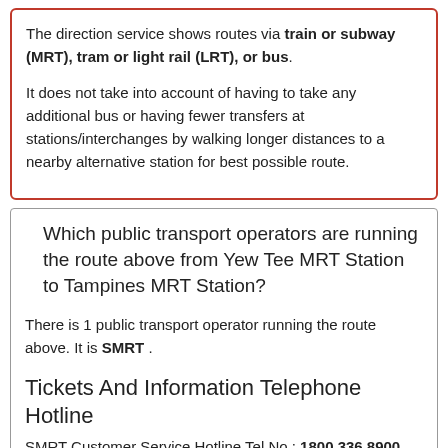The direction service shows routes via train or subway (MRT), tram or light rail (LRT), or bus.. It does not take into account of having to take any additional bus or having fewer transfers at stations/interchanges by walking longer distances to a nearby alternative station for best possible route.
Which public transport operators are running the route above from Yew Tee MRT Station to Tampines MRT Station?
There is 1 public transport operator running the route above. It is SMRT .
Tickets And Information Telephone Hotline
SMRT Customer Service Hotline Tel No : 1800 336 8900